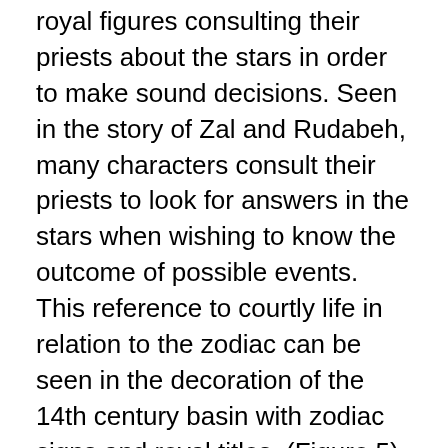royal figures consulting their priests about the stars in order to make sound decisions. Seen in the story of Zal and Rudabeh, many characters consult their priests to look for answers in the stars when wishing to know the outcome of possible events. This reference to courtly life in relation to the zodiac can be seen in the decoration of the 14th century basin with zodiac signs and royal titles, (Figure 5). The basin's overall decoration reflects this importance of the zodiac in daily life. Originally part of a set with a matching ewer, this basin is lavishly and intricately decorated on the interior, (Figure 5). The exterior, in contrast is relatively plain with an inscription. Made out of brass and embellished with inlaid silver and engraving, the pair would have been used for ablutions in most likely a wealthy or royal